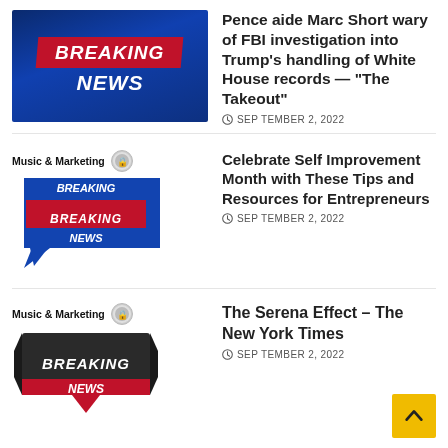[Figure (screenshot): Breaking News thumbnail - blue gradient background with red BREAKING banner and white NEWS text]
Pence aide Marc Short wary of FBI investigation into Trump's handling of White House records — “The Takeout”
SEPTEMBER 2, 2022
[Figure (screenshot): Music & Marketing category with small Breaking News speech bubble badge in red and blue]
Celebrate Self Improvement Month with These Tips and Resources for Entrepreneurs
SEPTEMBER 2, 2022
[Figure (screenshot): Music & Marketing category with small Breaking News badge in dark/black and red]
The Serena Effect – The New York Times
SEPTEMBER 2, 2022